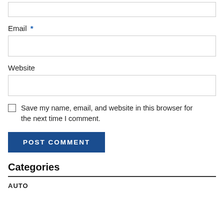Email *
Website
Save my name, email, and website in this browser for the next time I comment.
POST COMMENT
Categories
AUTO